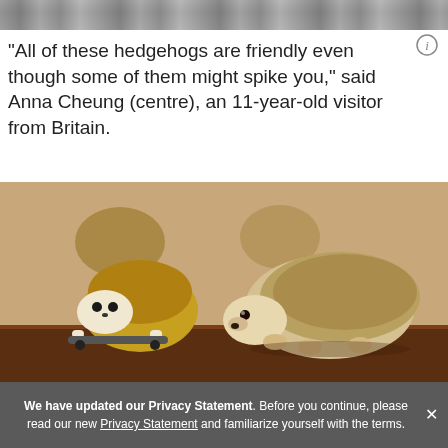[Figure (photo): Top strip of a photo showing blurred colorful background items]
"All of these hedgehogs are friendly even though some of them might spike you," said Anna Cheung (centre), an 11-year-old visitor from Britain.
[Figure (photo): Photo of a hedgehog toy/figurine on a small skateboard on the left and a real hedgehog on the right, on a wooden surface with a warm tan background]
We have updated our Privacy Statement. Before you continue, please read our new Privacy Statement and familiarize yourself with the terms.